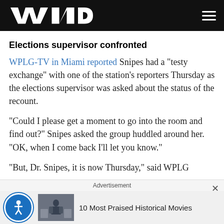WND
Elections supervisor confronted
WPLG-TV in Miami reported Snipes had a "testy exchange" with one of the station's reporters Thursday as the elections supervisor was asked about the status of the recount.
"Could I please get a moment to go into the room and find out?" Snipes asked the group huddled around her. "OK, when I come back I'll let you know."
"But, Dr. Snipes, it is now Thursday," said WPLG
Advertisement
10 Most Praised Historical Movies